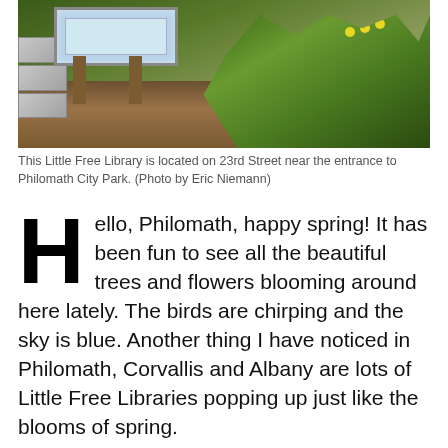[Figure (photo): A Little Free Library structure on a wooden easel in a garden setting with green plants and yellow flowers, near dirt ground. Concrete blocks visible on the left side.]
This Little Free Library is located on 23rd Street near the entrance to Philomath City Park. (Photo by Eric Niemann)
Hello, Philomath, happy spring! It has been fun to see all the beautiful trees and flowers blooming around here lately. The birds are chirping and the sky is blue. Another thing I have noticed in Philomath, Corvallis and Albany are lots of Little Free Libraries popping up just like the blooms of spring.